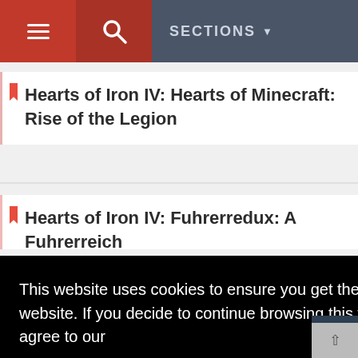SECTIONS
Hearts of Iron IV: Hearts of Minecraft: Rise of the Legion
Hearts of Iron IV: Fuhrerredux: A Fuhrerreich
This website uses cookies to ensure you get the best experience on our website. If you decide to continue browsing this website, you automatically agree to our
Privacy Policy
Got it!
Hearts of Iron IV: Minor Nations Reborn